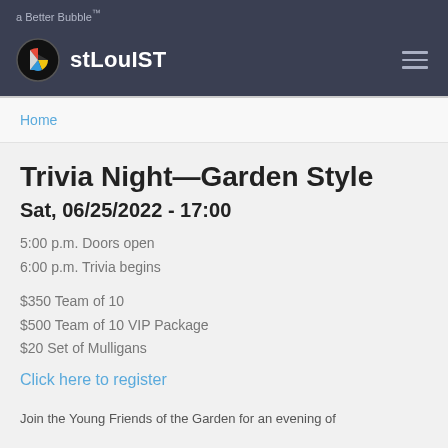a Better Bubble™
stLouIST
Home
Trivia Night—Garden Style
Sat, 06/25/2022 - 17:00
5:00 p.m. Doors open
6:00 p.m. Trivia begins
$350 Team of 10
$500 Team of 10 VIP Package
$20 Set of Mulligans
Click here to register
Join the Young Friends of the Garden for an evening of